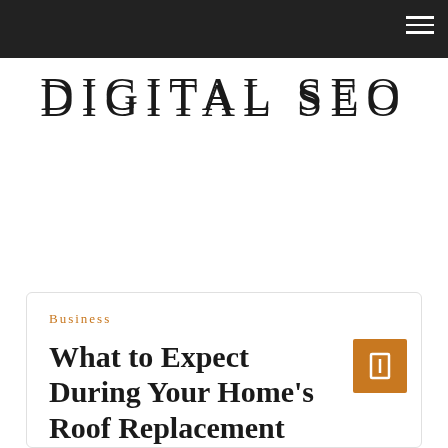DIGITAL SEO
Business
What to Expect During Your Home's Roof Replacement